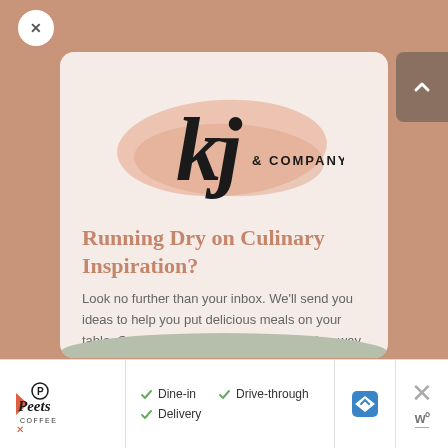[Figure (logo): KJ & Company logo with script lettering on a salmon/rose brushstroke background]
Running Dry on Culinary Inspiration?
Look no further than your inbox. We'll send you ideas to help you put delicious meals on your table. Or dessert in bed. No judgment either way.
[Figure (logo): Peet's Coffee logo with play button icon]
Dine-in  Drive-through  Delivery
[Figure (other): Blue navigation road sign diamond shape]
[Figure (other): X close button and W° icon in footer]